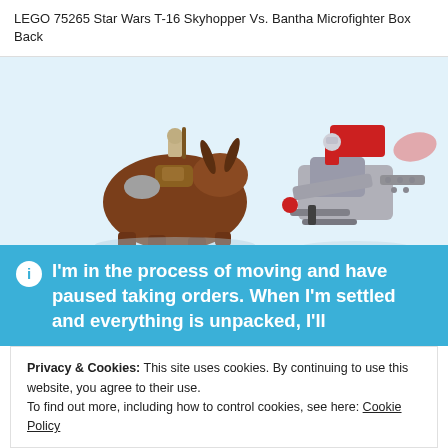LEGO 75265 Star Wars T-16 Skyhopper Vs. Bantha Microfighter Box Back
[Figure (photo): LEGO 75265 Star Wars T-16 Skyhopper vs. Bantha Microfighter product photo showing two assembled LEGO sets: a Bantha creature with Tusken Raider minifigure on the left, and a T-16 Skyhopper with pilot minifigure on the right, on a light blue background.]
I'm in the process of moving and have paused taking orders. When I'm settled and everything is unpacked, I'll
Privacy & Cookies: This site uses cookies. By continuing to use this website, you agree to their use.
To find out more, including how to control cookies, see here: Cookie Policy
Close and accept